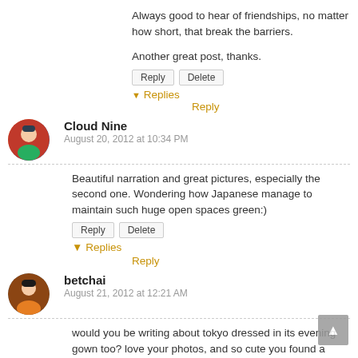Always good to hear of friendships, no matter how short, that break the barriers.
Another great post, thanks.
▼ Replies
Reply
Cloud Nine
August 20, 2012 at 10:34 PM
Beautiful narration and great pictures, especially the second one. Wondering how Japanese manage to maintain such huge open spaces green:)
▼ Replies
Reply
betchai
August 21, 2012 at 12:21 AM
would you be writing about tokyo dressed in its evening gown too? love your photos, and so cute you found a sweet lannguage-barrier free friendship.